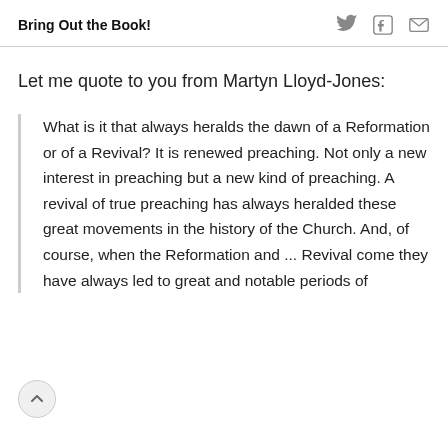Bring Out the Book!
Let me quote to you from Martyn Lloyd-Jones:
What is it that always heralds the dawn of a Reformation or of a Revival? It is renewed preaching. Not only a new interest in preaching but a new kind of preaching. A revival of true preaching has always heralded these great movements in the history of the Church. And, of course, when the Reformation and ... Revival come they have always led to great and notable periods of